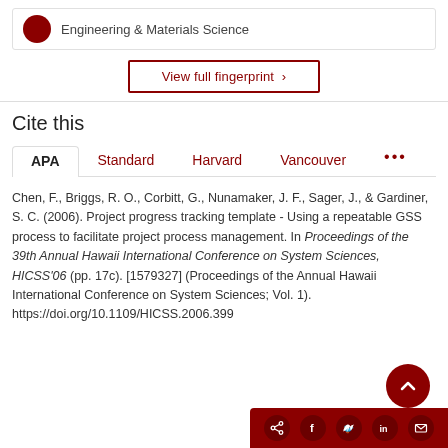Engineering & Materials Science
View full fingerprint ›
Cite this
APA | Standard | Harvard | Vancouver | ...
Chen, F., Briggs, R. O., Corbitt, G., Nunamaker, J. F., Sager, J., & Gardiner, S. C. (2006). Project progress tracking template - Using a repeatable GSS process to facilitate project process management. In Proceedings of the 39th Annual Hawaii International Conference on System Sciences, HICSS'06 (pp. 17c). [1579327] (Proceedings of the Annual Hawaii International Conference on System Sciences; Vol. 1). https://doi.org/10.1109/HICSS.2006.399